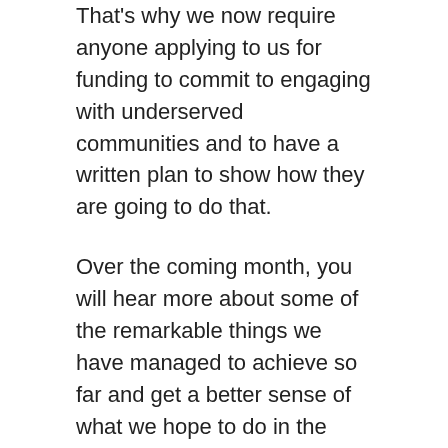That's why we now require anyone applying to us for funding to commit to engaging with underserved communities and to have a written plan to show how they are going to do that.
Over the coming month, you will hear more about some of the remarkable things we have managed to achieve so far and get a better sense of what we hope to do in the future. We know there will be challenges ahead and that not everything we do or support will work. But we also know that with the team we have built at CIRM, the brilliant research community in California and the passion and drive of the patient advocate community we will live up to the responsibility the people of California placed in us when they approved Proposition 14.